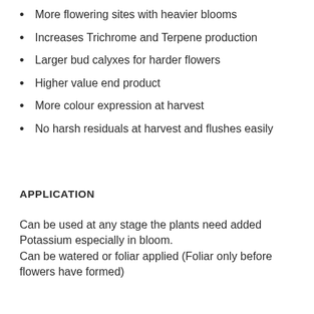More flowering sites with heavier blooms
Increases Trichrome and Terpene production
Larger bud calyxes for harder flowers
Higher value end product
More colour expression at harvest
No harsh residuals at harvest and flushes easily
APPLICATION
Can be used at any stage the plants need added Potassium especially in bloom.
Can be watered or foliar applied (Foliar only before flowers have formed)